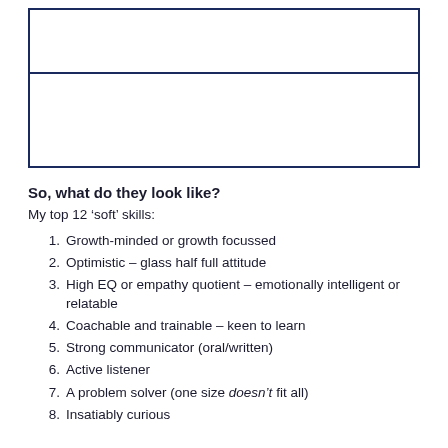[Figure (other): Two empty rectangular boxes stacked, with a dark navy border — writing/response area]
So, what do they look like?
My top 12 ‘soft’ skills:
1. Growth-minded or growth focussed
2. Optimistic – glass half full attitude
3. High EQ or empathy quotient – emotionally intelligent or relatable
4. Coachable and trainable – keen to learn
5. Strong communicator (oral/written)
6. Active listener
7. A problem solver (one size doesn’t fit all)
8. Insatiably curious